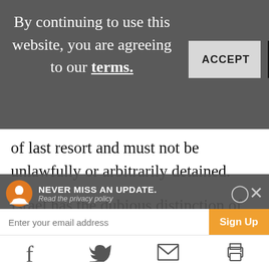By continuing to use this website, you are agreeing to our terms.
[Figure (screenshot): Cookie consent banner with ACCEPT and Reject buttons on dark grey background]
of last resort and must not be unlawfully or arbitrarily detained.
Israel has the dubious distinction of being the only country in the world that systematically prosecutes between 500
[Figure (screenshot): Newsletter signup bar with NEVER MISS AN UPDATE headline, email input, Sign Up button, and social share icons]